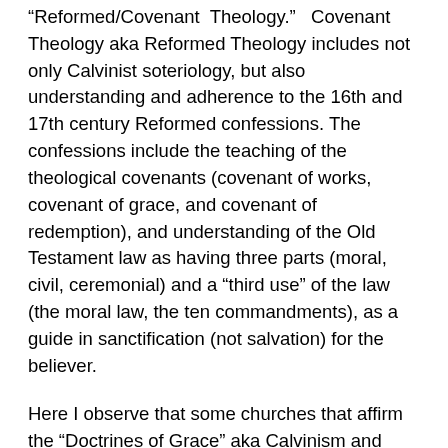“Reformed/Covenant Theology.”  Covenant Theology aka Reformed Theology includes not only Calvinist soteriology, but also understanding and adherence to the 16th and 17th century Reformed confessions. The confessions include the teaching of the theological covenants (covenant of works, covenant of grace, and covenant of redemption), and understanding of the Old Testament law as having three parts (moral, civil, ceremonial) and a “third use” of the law (the moral law, the ten commandments), as a guide in sanctification (not salvation) for the believer.
Here I observe that some churches that affirm the “Doctrines of Grace” aka Calvinism and reference the term “sovereign grace,” may also hold to covenant theology. But more often they actually hold to a “dispensational” understanding of the law, particularly with NCT, New